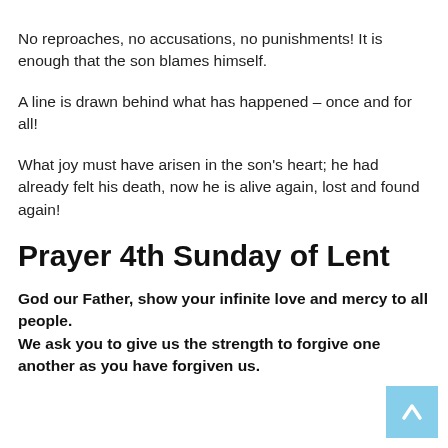No reproaches, no accusations, no punishments! It is enough that the son blames himself.
A line is drawn behind what has happened – once and for all!
What joy must have arisen in the son's heart; he had already felt his death, now he is alive again, lost and found again!
Prayer 4th Sunday of Lent
God our Father, show your infinite love and mercy to all people.
We ask you to give us the strength to forgive one another as you have forgiven us.